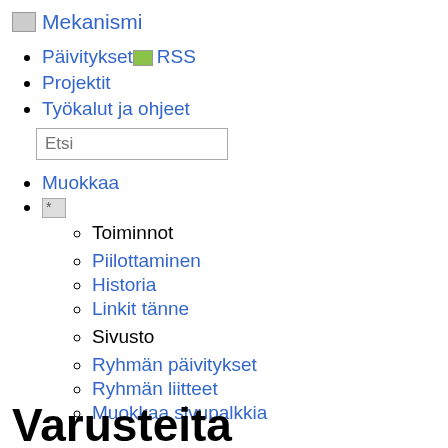A Mekanismi
Päivitykset RSS
Projektit
Työkalut ja ohjeet
Etsi
Muokkaa
[star icon]
Toiminnot
Piilottaminen
Historia
Linkit tänne
Sivusto
Ryhmän päivitykset
Ryhmän liitteet
Muokkaa sivupalkkia
Varusteita